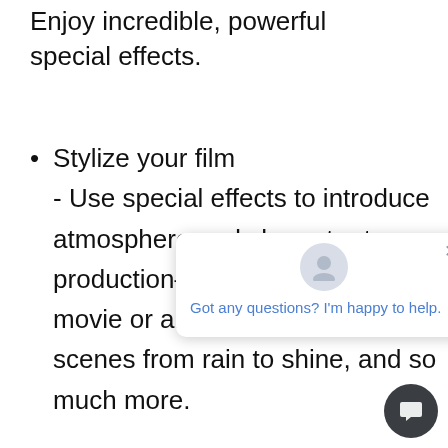Enjoy incredible, powerful special effects.
Stylize your film - Use special effects to introduce atmosphere and character to your production—make it look like an old movie or an indie film, transform scenes from rain to shine, and so much more.
[Figure (other): Chat support widget popup with avatar icon, close button, and message 'Got any questions? I'm happy to help.']